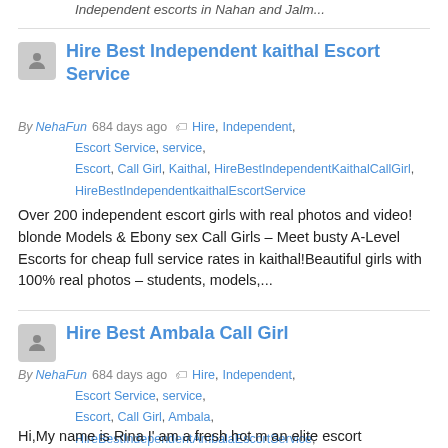Independent escorts in Nahan and Jalm...
Hire Best Independent kaithal Escort Service
By NehaFun 684 days ago  Hire, Independent, Escort Service, service, Escort, Call Girl, Kaithal, HireBestIndependentKaithalCallGirl, HireBestIndependentkaithalEscortService
Over 200 independent escort girls with real photos and video! blonde Models & Ebony sex Call Girls – Meet busty A-Level Escorts for cheap full service rates in kaithal!Beautiful girls with 100% real photos – students, models,...
Hire Best Ambala Call Girl
By NehaFun 684 days ago  Hire, Independent, Escort Service, service, Escort, Call Girl, Ambala, HireBestIndependentAmbalaEscortService, HireBestIndependentAmbalacallgirl
Hi,My name is Rina I' am a fresh hot m an elite escort